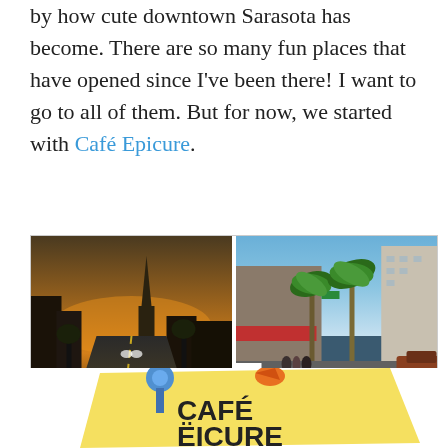by how cute downtown Sarasota has become. There are so many fun places that have opened since I've been there! I want to go to all of them. But for now, we started with Café Epicure.
[Figure (photo): Two side-by-side photos of downtown Sarasota streets. Left photo shows a wide road from driver's perspective at dusk/dawn with a church steeple in background. Right photo shows a busy pedestrian street with palm trees, multi-story buildings, outdoor café awnings, and a crosswalk.]
[Figure (photo): Partial view of Café Epicure logo/sign on what appears to be a sticky note or paper with pushpins, showing text 'CAFÉ ËICURE' with decorative elements.]